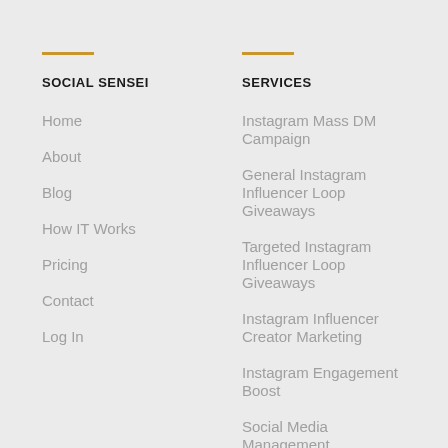SOCIAL SENSEI
Home
About
Blog
How IT Works
Pricing
Contact
Log In
SERVICES
Instagram Mass DM Campaign
General Instagram Influencer Loop Giveaways
Targeted Instagram Influencer Loop Giveaways
Instagram Influencer Creator Marketing
Instagram Engagement Boost
Social Media Management
Ad Campaign Management
SEO Optimization
Organic Social Media Growth